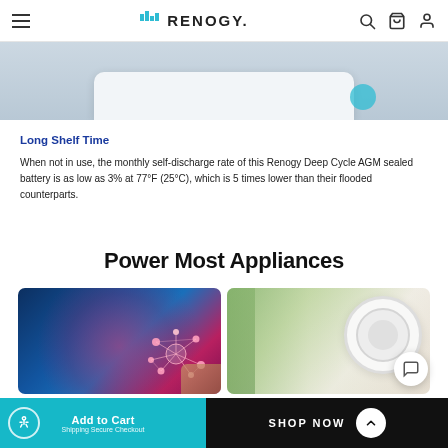RENOGY
[Figure (photo): Partial view of a white Renogy Deep Cycle AGM battery product on a blue-grey gradient background]
Long Shelf Time
When not in use, the monthly self-discharge rate of this Renogy Deep Cycle AGM sealed battery is as low as 3% at 77°F (25°C), which is 5 times lower than their flooded counterparts.
Power Most Appliances
[Figure (photo): Two product application photos side by side: left shows a tablet/phone with a glowing brain network graphic; right shows a white circular appliance (fan or air purifier) against a green/beige background]
Add to Cart  Shipping Secure Checkout  |  SHOP NOW